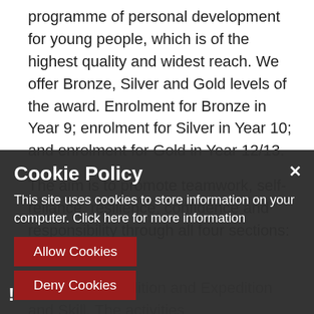programme of personal development for young people, which is of the highest quality and widest reach. We offer Bronze, Silver and Gold levels of the award. Enrolment for Bronze in Year 9; enrolment for Silver in Year 10; and enrolment for Gold in Year 12/13.
The aim is to promote teamwork, self-reliance, resilience, confidence and responsibility through all four sections: Volunteering, Physical, Expedition and Skill. The activities involve both and outside school time such as working in a charity, helping the elderly or sports. Leadership/Recreation is sport base...
Cookie Policy
This site uses cookies to store information on your computer. Click here for more information
Allow Cookies
Deny Cookies